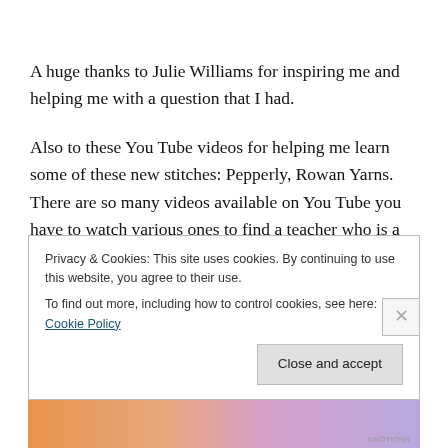A huge thanks to Julie Williams for inspiring me and helping me with a question that I had.
Also to these You Tube videos for helping me learn some of these new stitches: Pepperly, Rowan Yarns. There are so many videos available on You Tube you have to watch various ones to find a teacher who is a good fit for you. Don't just watch one or two and give up if they don't work for you. Try a lot more and go back on different days as
Privacy & Cookies: This site uses cookies. By continuing to use this website, you agree to their use.
To find out more, including how to control cookies, see here: Cookie Policy